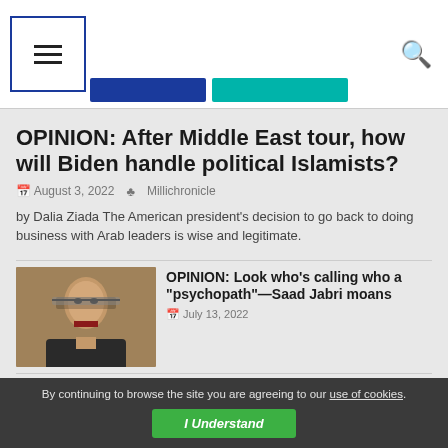Navigation header with hamburger menu and search icon
OPINION: After Middle East tour, how will Biden handle political Islamists?
August 3, 2022  Millichronicle
by Dalia Ziada The American president’s decision to go back to doing business with Arab leaders is wise and legitimate.
[Figure (photo): Portrait photo of a man in glasses and dark suit with red tie]
OPINION: Look who’s calling who a “psychopath”—Saad Jabri moans
July 13, 2022
[Figure (photo): Photo of a man in traditional Gulf Arab attire]
OPINION: Is Qatar Abandoning the Muslim Brotherhood?
By continuing to browse the site you are agreeing to our use of cookies. I Understand